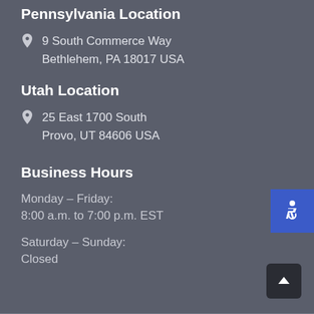Pennsylvania Location
9 South Commerce Way
Bethlehem, PA 18017 USA
Utah Location
25 East 1700 South
Provo, UT 84606 USA
Business Hours
Monday – Friday:
8:00 a.m. to 7:00 p.m. EST
Saturday – Sunday:
Closed
[Figure (illustration): Blue accessibility wheelchair icon button in top right corner]
[Figure (illustration): Dark back-to-top arrow button in bottom right corner]